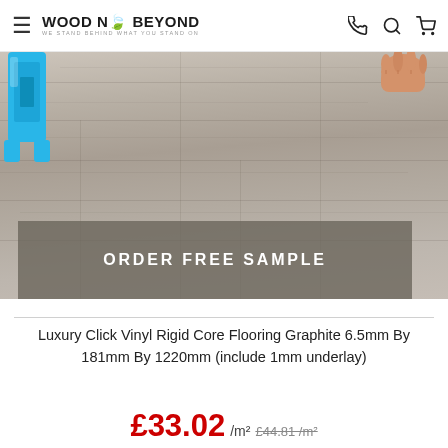WOOD N' BEYOND — WE STAND BEHIND WHAT YOU STAND ON
[Figure (photo): Photo of grey/graphite luxury vinyl rigid core flooring planks with a blue installation tool in the top-left corner and a hand partially visible at the top-right, overlaid with an ORDER FREE SAMPLE semi-transparent banner at the bottom.]
Luxury Click Vinyl Rigid Core Flooring Graphite 6.5mm By 181mm By 1220mm (include 1mm underlay)
£33.02 /m² £44.81 /m²